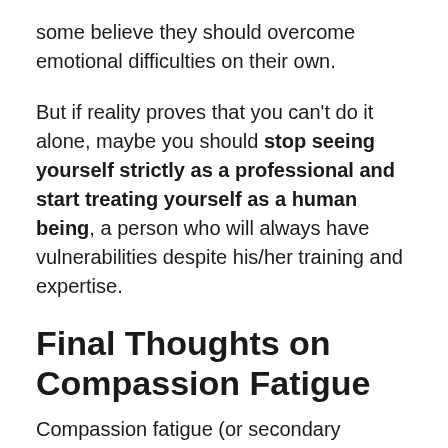some believe they should overcome emotional difficulties on their own.
But if reality proves that you can't do it alone, maybe you should stop seeing yourself strictly as a professional and start treating yourself as a human being, a person who will always have vulnerabilities despite his/her training and expertise.
Final Thoughts on Compassion Fatigue
Compassion fatigue (or secondary trauma) is